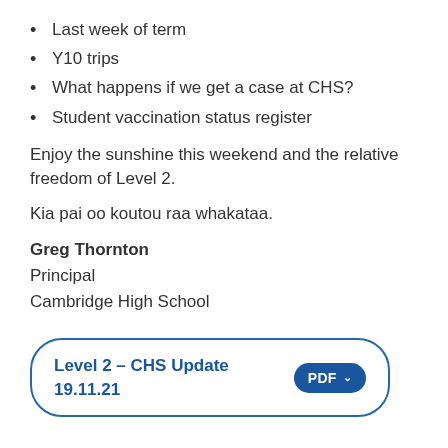Last week of term
Y10 trips
What happens if we get a case at CHS?
Student vaccination status register
Enjoy the sunshine this weekend and the relative freedom of Level 2.
Kia pai oo koutou raa whakataa.
Greg Thornton
Principal
Cambridge High School
[Figure (other): Rounded rectangle document link button: 'Level 2 - CHS Update 19.11.21' in blue bold text on left, blue 'PDF ∨' pill button on right]